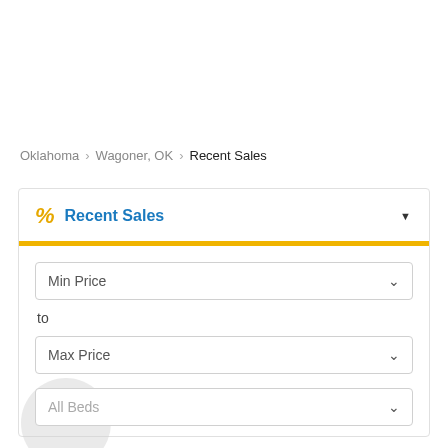Oklahoma > Wagoner, OK > Recent Sales
Recent Sales
Min Price
to
Max Price
All Beds